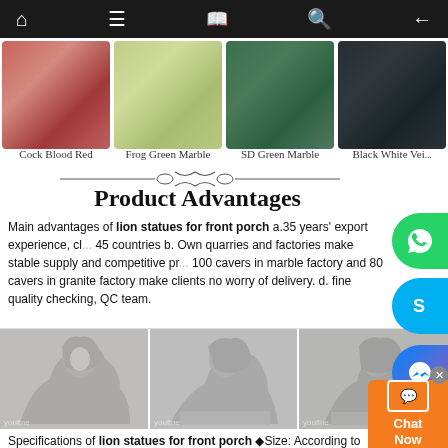Navigation bar with home, menu, book, search, and back icons
[Figure (photo): Four marble stone swatches: Cock Blood Red, Frog Green Marble, SD Green Marble, Black White Vei...]
Cock Blood Red    Frog Green Marble    SD Green Marble    Black White Vei...
Product Advantages
Main advantages of lion statues for front porch a.35 years' export experience, cl... 45 countries b. Own quarries and factories make stable supply and competitive pr... 100 cavers in marble factory and 80 cavers in granite factory make clients no worry of delivery. d. fine quality checking, QC team.
[Figure (photo): Three photos of white marble lion statues for front porch in warehouse/outdoor settings]
Specifications of lion statues for front porch ◆Size: According to customer's requirement ◆Material: Natural marble, sandstone or granite ◆Color: White, yellow, red,